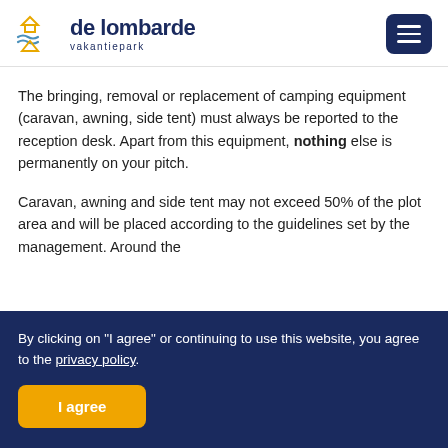de lombarde vakantiepark
The bringing, removal or replacement of camping equipment (caravan, awning, side tent) must always be reported to the reception desk. Apart from this equipment, nothing else is permanently on your pitch.
Caravan, awning and side tent may not exceed 50% of the plot area and will be placed according to the guidelines set by the management. Around the
By clicking on "I agree" or continuing to use this website, you agree to the privacy policy.